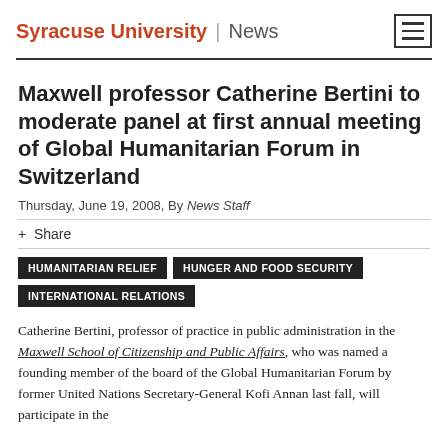Syracuse University | News
Maxwell professor Catherine Bertini to moderate panel at first annual meeting of Global Humanitarian Forum in Switzerland
Thursday, June 19, 2008, By News Staff
+ Share
HUMANITARIAN RELIEF
HUNGER AND FOOD SECURITY
INTERNATIONAL RELATIONS
Catherine Bertini, professor of practice in public administration in the Maxwell School of Citizenship and Public Affairs, who was named a founding member of the board of the Global Humanitarian Forum by former United Nations Secretary-General Kofi Annan last fall, will participate in the